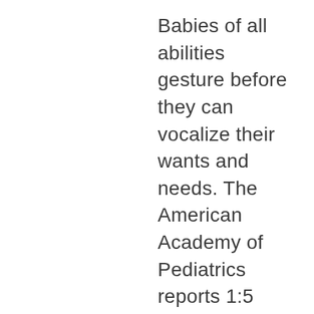Babies of all abilities gesture before they can vocalize their wants and needs. The American Academy of Pediatrics reports 1:5 children will have a language delay. Simple to sign baby board books help caregivers practice signing skills and build fluency while sharing books with their small children. These books are designed to be educational. They are not only fun to sign, because they rhyme in ASL, they also prepare children for kindergarten. It is designed for families who have children at risk for language delays. Children with hearing loss, Down Syndrome, Autism, other conditions or no diagnosed conditions yet have